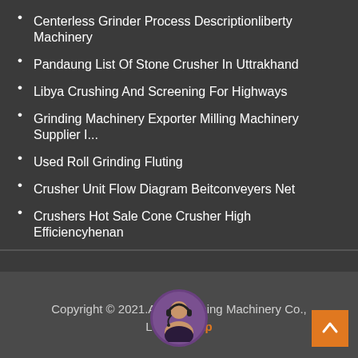Centerless Grinder Process Descriptionliberty Machinery
Pandaung List Of Stone Crusher In Uttrakhand
Libya Crushing And Screening For Highways
Grinding Machinery Exporter Milling Machinery Supplier I...
Used Roll Grinding Fluting
Crusher Unit Flow Diagram Beitconveyers Net
Crushers Hot Sale Cone Crusher High Efficiencyhenan
Copyright © 2021.Airvice Mining Machinery Co., Ltd.Sitemap
Leave Message  Chat Online